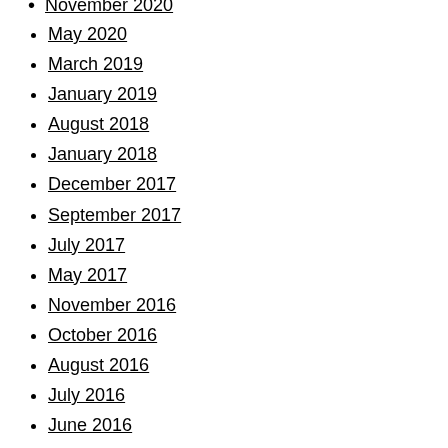November 2020
May 2020
March 2019
January 2019
August 2018
January 2018
December 2017
September 2017
July 2017
May 2017
November 2016
October 2016
August 2016
July 2016
June 2016
May 2016
March 2016
February 2016